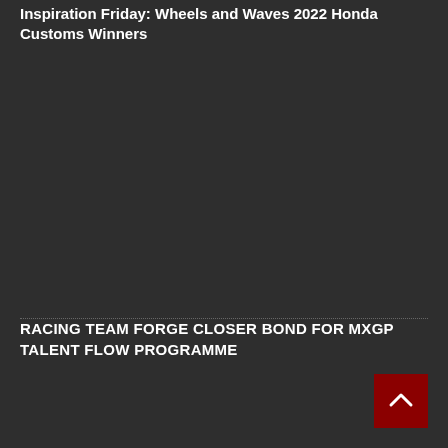Inspiration Friday: Wheels and Waves 2022 Honda Customs Winners
RACING TEAM FORGE CLOSER BOND FOR MXGP TALENT FLOW PROGRAMME